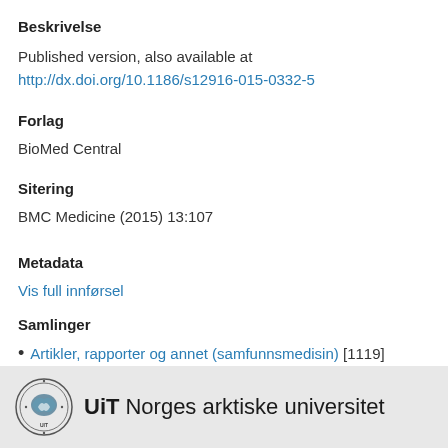Beskrivelse
Published version, also available at http://dx.doi.org/10.1186/s12916-015-0332-5
Forlag
BioMed Central
Sitering
BMC Medicine (2015) 13:107
Metadata
Vis full innførsel
Samlinger
Artikler, rapporter og annet (samfunnsmedisin) [1119]
[Figure (logo): UiT Norges arktiske universitet logo with circular university seal on grey background footer bar]